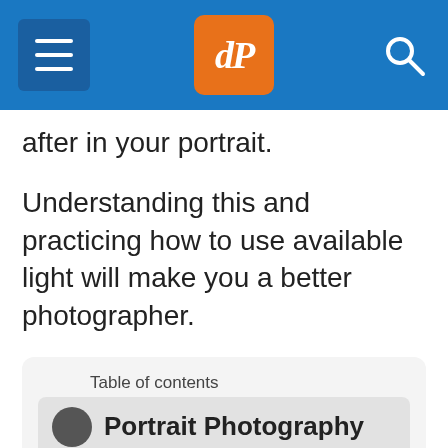dPS
after in your portrait.
Understanding this and practicing how to use available light will make you a better photographer.
Table of contents
Portrait Photography
GENERAL
15 Common Portrait Mistakes to Avoid
10 Ways to Direct a Portrait Shoot like a Pro